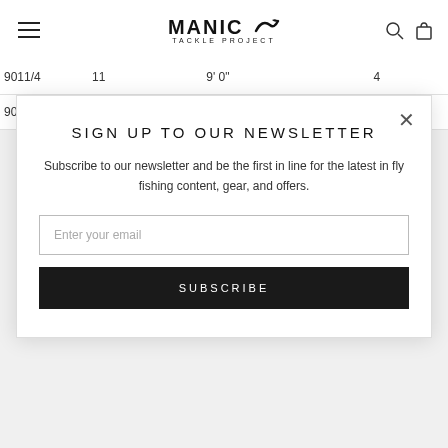MANIC TACKLE PROJECT
| 9011/4 | 11 | 9' 0" | 4 |
| --- | --- | --- | --- |
| 90 |  |  |  |
SIGN UP TO OUR NEWSLETTER
Subscribe to our newsletter and be the first in line for the latest in fly fishing content, gear, and offers.
Enter your email
SUBSCRIBE